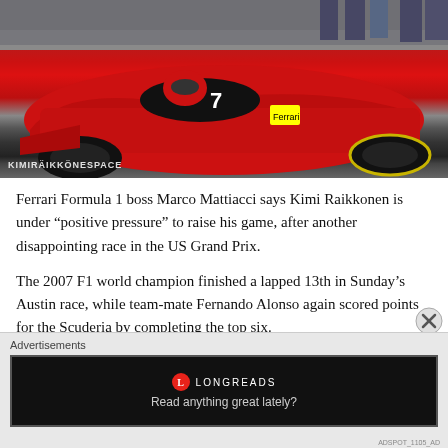[Figure (photo): Ferrari Formula 1 car in red with number 7, pit lane scene with people in background. Watermark reading KIMIRÄIKKÖNESPACE at bottom left.]
Ferrari Formula 1 boss Marco Mattiacci says Kimi Raikkonen is under “positive pressure” to raise his game, after another disappointing race in the US Grand Prix.
The 2007 F1 world champion finished a lapped 13th in Sunday’s Austin race, while team-mate Fernando Alonso again scored points for the Scuderia by completing the top six.
Raikkonen’s... (text cut off)
Advertisements
[Figure (screenshot): Longreads advertisement banner: red circle logo with L, LONGREADS text, tagline 'Read anything great lately?' on black background.]